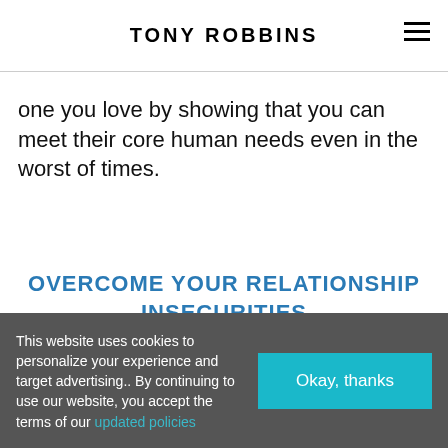TONY ROBBINS
one you love by showing that you can meet their core human needs even in the worst of times.
OVERCOME YOUR RELATIONSHIP INSECURITIES
This website uses cookies to personalize your experience and target advertising.. By continuing to use our website, you accept the terms of our updated policies